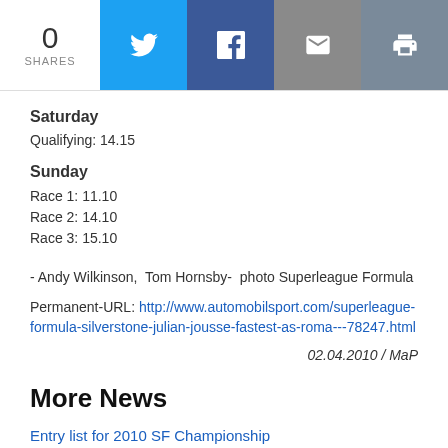0 SHARES | Twitter | Facebook | Email | Print
Saturday
Qualifying: 14.15
Sunday
Race 1: 11.10
Race 2: 14.10
Race 3: 15.10
- Andy Wilkinson,  Tom Hornsby-  photo Superleague Formula
Permanent-URL: http://www.automobilsport.com/superleague-formula-silverstone-julian-jousse-fastest-as-roma---78247.html
02.04.2010 / MaP
More News
Entry list for 2010 SF Championship
01.04.2010
SF 2010 CHAMPIONSHIP ENTRY LIST1     Liverpool FC     Atech Grand Prix     James Walker2     Sporting Clube de Portugal     Reid Motorsport     Borja Garcia3     AC Milan